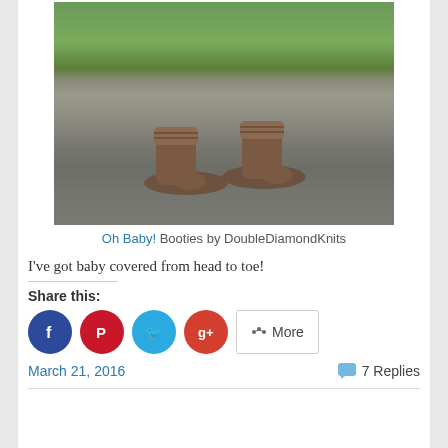[Figure (photo): Knitted brown baby booties placed on a weathered wooden surface outdoors with green foliage in the background]
Oh Baby! Booties by DoubleDiamondKnits
I've got baby covered from head to toe!
Share this:
March 21, 2016    7 Replies